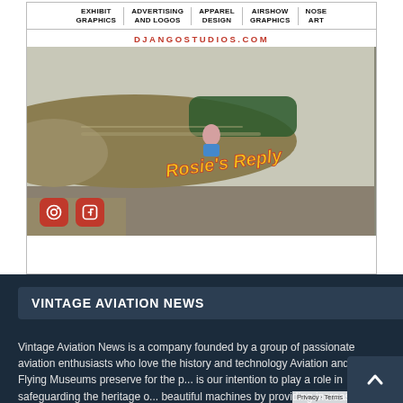[Figure (photo): Advertisement for Django Studios showing an aircraft nose with 'Rosie's Reply' nose art, Instagram and Facebook icons, and the URL djangostudios.com. Categories listed: Exhibit Graphics, Advertising and Logos, Apparel Design, Airshow Graphics, Nose Art.]
VINTAGE AVIATION NEWS
Vintage Aviation News is a company founded by a group of passionate aviation enthusiasts who love the history and technology Aviation and Flying Museums preserve for the p... is our intention to play a role in safeguarding the heritage o... beautiful machines by providing increased awareness and